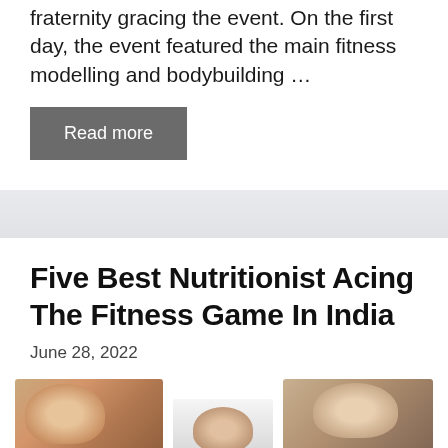fraternity gracing the event. On the first day, the event featured the main fitness modelling and bodybuilding …
Read more
Five Best Nutritionist Acing The Fitness Game In India
June 28, 2022
[Figure (photo): Three photos of nutritionists/fitness personalities arranged in a row]